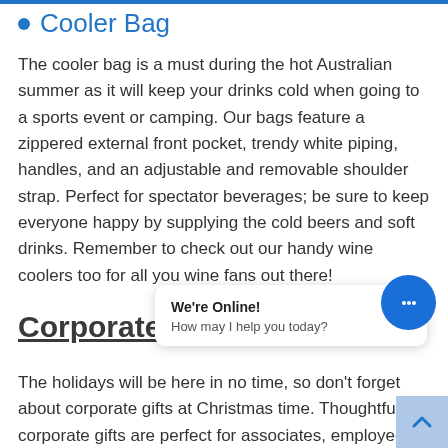Cooler Bag
The cooler bag is a must during the hot Australian summer as it will keep your drinks cold when going to a sports event or camping. Our bags feature a zippered external front pocket, trendy white piping, handles, and an adjustable and removable shoulder strap. Perfect for spectator beverages; be sure to keep everyone happy by supplying the cold beers and soft drinks. Remember to check out our handy wine coolers too for all you wine fans out there!
Corporate
The holidays will be here in no time, so don't forget about corporate gifts at Christmas time. Thoughtful corporate gifts are perfect for associates, employees